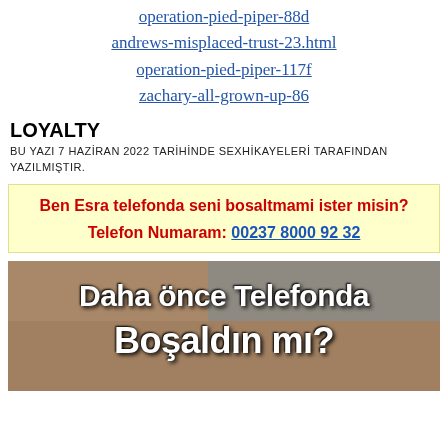operation-pied-piper-88d
andrews-misplaced-trust-23.html
operation-pied-piper-117f
zachary-all-grown-up-86
LOYALTY
BU YAZI 7 HAZİRAN 2022 TARİHİNDE SEXHİKAYELERİ TARAFINDAN YAZILMIŞTIR.
Ben Esra telefonda seni bosaltmami ister misin?
Telefon Numaram: 00237 8000 92 32
[Figure (photo): Banner image with text overlay reading 'Daha önce Telefonda Boşaldın mı?' over a photograph]